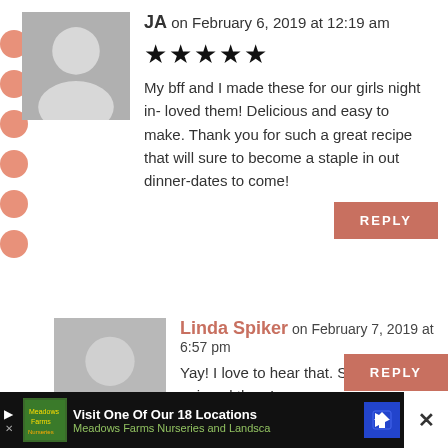JA on February 6, 2019 at 12:19 am
★★★★★
My bff and I made these for our girls night in- loved them! Delicious and easy to make. Thank you for such a great recipe that will sure to become a staple in out dinner-dates to come!
REPLY
Linda Spiker on February 7, 2019 at 6:57 pm
Yay! I love to hear that. So glad you enjoyed them!
REPLY
Visit One Of Our 18 Locations Meadows Farms Nurseries and Landsca